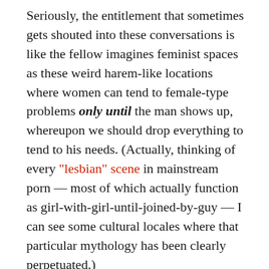Seriously, the entitlement that sometimes gets shouted into these conversations is like the fellow imagines feminist spaces as these weird harem-like locations where women can tend to female-type problems only until the man shows up, whereupon we should drop everything to tend to his needs. (Actually, thinking of every “lesbian” scene in mainstream porn — most of which actually function as girl-with-girl-until-joined-by-guy — I can see some cultural locales where that particular mythology has been clearly perpetuated.)
(Do I need to tell you that link is NSFW? Visuals are completely G/PG, but the audio goes into R territory.)